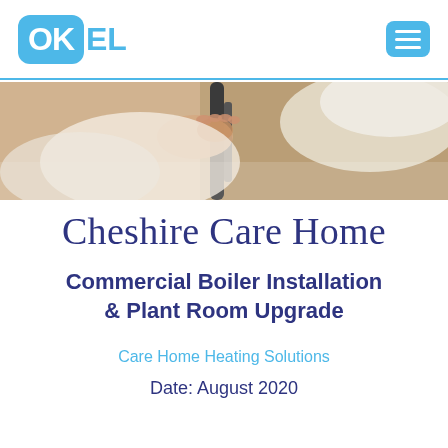OKEL
[Figure (photo): Close-up photo of a person's hand gripping a walking frame or bed rail, with white fabric/bedding in the background. Care home setting.]
Cheshire Care Home
Commercial Boiler Installation & Plant Room Upgrade
Care Home Heating Solutions
Date: August 2020